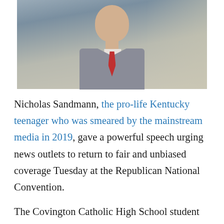[Figure (photo): Portrait photo of Nicholas Sandmann, a young man wearing a grey suit and red tie, photographed from the chest up against a blurred background.]
Nicholas Sandmann, the pro-life Kentucky teenager who was smeared by the mainstream media in 2019, gave a powerful speech urging news outlets to return to fair and unbiased coverage Tuesday at the Republican National Convention.
The Covington Catholic High School student was thrust into the national spotlight in 2019 after attending the annual March for Life in Washington,